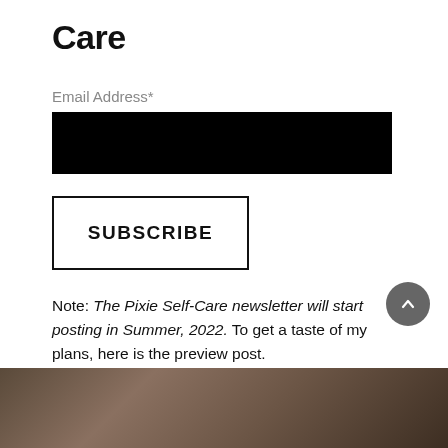Care
Email Address*
[Figure (other): Black redacted email address input field]
SUBSCRIBE
Note: The Pixie Self-Care newsletter will start posting in Summer, 2022. To get a taste of my plans, here is the preview post.
[Figure (other): Scroll-to-top circular button with upward chevron arrow]
[Figure (photo): Partial photo at bottom of page showing a dark textured surface]